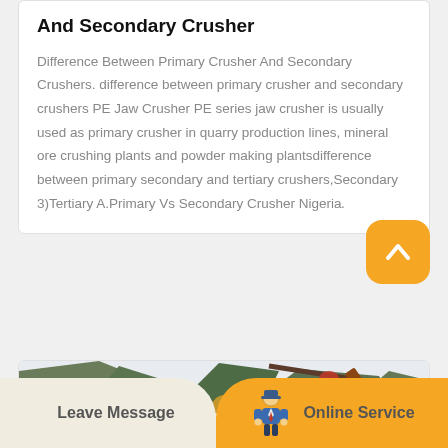And Secondary Crusher
Difference Between Primary Crusher And Secondary Crushers. difference between primary crusher and secondary crushers PE Jaw Crusher PE series jaw crusher is usually used as primary crusher in quarry production lines, mineral ore crushing plants and powder making plantsdifference between primary secondary and tertiary crushers,Secondary 3)Tertiary A.Primary Vs Secondary Crusher Nigeria.
[Figure (photo): Outdoor mountain landscape photograph showing rocky mountains with vegetation and industrial equipment partially visible]
Leave Message
Online Service